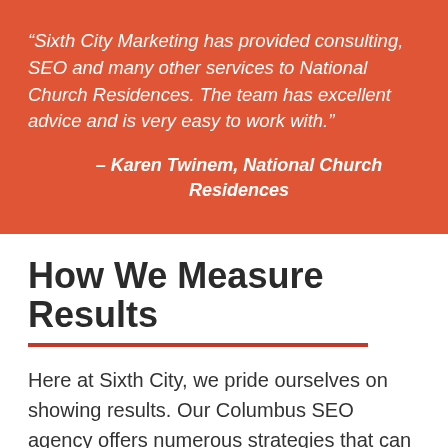“Sixth City Marketing has provided consulting, SEO and many other services to National Church Residences. The team has excellent advice and is very easy to work with.”
– Karen Twinem, National Church Residences
How We Measure Results
Here at Sixth City, we pride ourselves on showing results. Our Columbus SEO agency offers numerous strategies that can measure